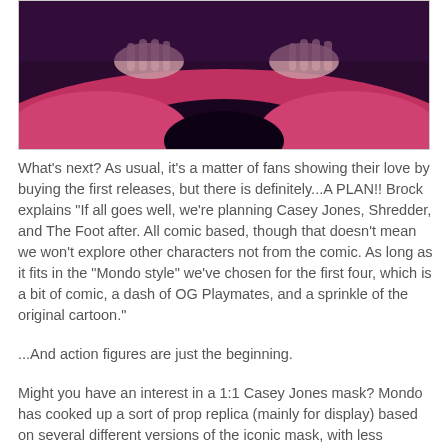[Figure (photo): A photo showing hands over a red/pink and dark fuzzy or furry textured surface, with purple/blue tones in the background. Appears to be a costume or prop material.]
What's next? As usual, it's a matter of fans showing their love by buying the first releases, but there is definitely...A PLAN!! Brock explains "If all goes well, we're planning Casey Jones, Shredder, and The Foot after. All comic based, though that doesn't mean we won't explore other characters not from the comic. As long as it fits in the "Mondo style" we've chosen for the first four, which is a bit of comic, a dash of OG Playmates, and a sprinkle of the original cartoon."
...And action figures are just the beginning.
Might you have an interest in a 1:1 Casey Jones mask? Mondo has cooked up a sort of prop replica (mainly for display) based on several different versions of the iconic mask, with less emphasis on being accurate to one particular style and more about being a show piece that makes people go "HOLY DAMN THAT IS INSANE." I'm pretty sure they will